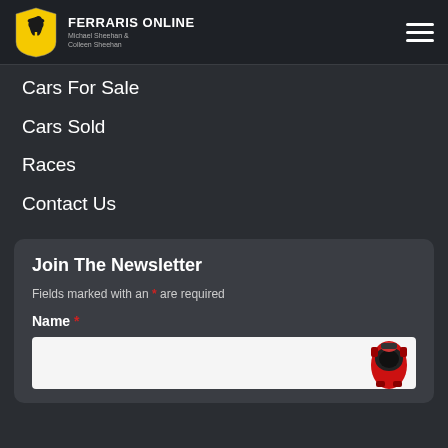FERRARIS ONLINE — Michael Sheehan & Colleen Sheehan
Cars For Sale
Cars Sold
Races
Contact Us
Join The Newsletter
Fields marked with an * are required
Name *